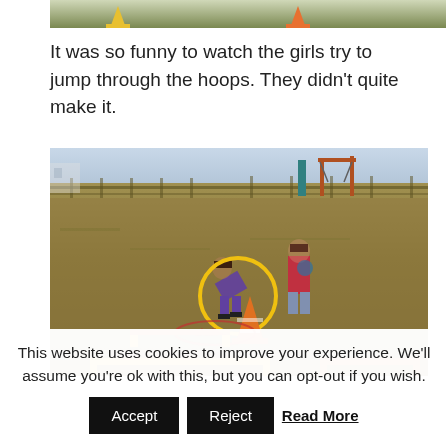[Figure (photo): Partial top of image showing traffic cones (yellow and orange) on a grassy/outdoor surface]
It was so funny to watch the girls try to jump through the hoops. They didn't quite make it.
[Figure (photo): Outdoor field photo showing two girls near orange traffic cones, one girl bent over a cone with a yellow circle highlight around her, playground equipment in background, yellow hurdles on ground]
This website uses cookies to improve your experience. We'll assume you're ok with this, but you can opt-out if you wish.
Accept
Reject
Read More